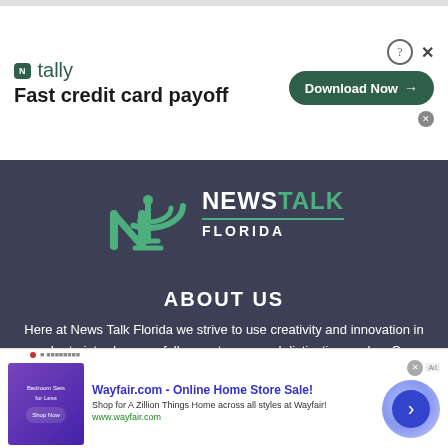[Figure (other): Tally app advertisement banner: logo with 'N tally' and tagline 'Fast credit card payoff' with 'Download Now' button]
[Figure (logo): News Talk Florida logo: stylized NT antenna icon with wifi signal arcs and text 'NEWSTALK FLORIDA']
ABOUT US
Here at News Talk Florida we strive to use creativity and innovation in order to introduce our followers to new and distinctive angles. Our mission has always been to measure success through the growth and development of our talent
[Figure (other): Wayfair.com advertisement: 'Wayfair.com - Online Home Store Sale! Shop for A Zillion Things Home across all styles at Wayfair! www.wayfair.com' with bedroom furniture image and circular arrow button]